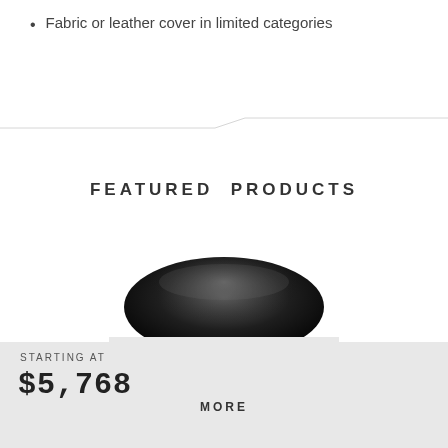Fabric or leather cover in limited categories
FEATURED PRODUCTS
[Figure (photo): Top portion of a black leather chair/sofa, showing the rounded back cushion.]
STARTING AT
$5,768
MORE